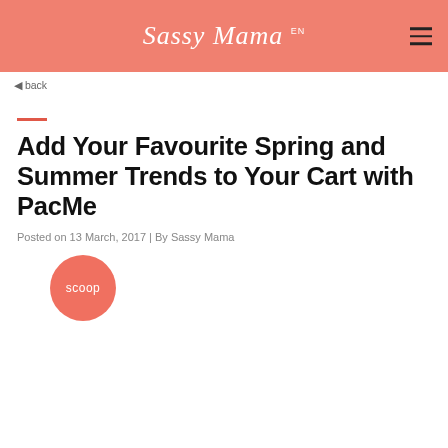Sassy Mama
back
Add Your Favourite Spring and Summer Trends to Your Cart with PacMe
Posted on 13 March, 2017 | By Sassy Mama
[Figure (logo): Circular salmon-colored badge with the word 'scoop' in white text]